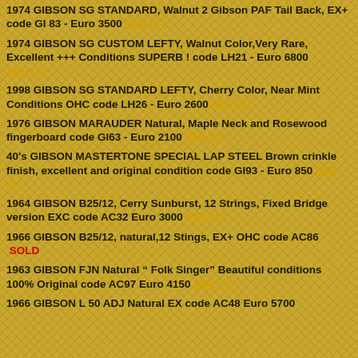1974 GIBSON SG STANDARD, Walnut 2 Gibson PAF Tail Back, EX+ code GI 83 - Euro 3500 SEE IT?
1974 GIBSON SG CUSTOM LEFTY, Walnut Color,Very Rare, Excellent +++ Conditions SUPERB ! code LH21 - Euro 6800 SEE IT?
1998 GIBSON SG STANDARD LEFTY, Cherry Color, Near Mint Conditions OHC code LH26 - Euro 2600 SEE IT?
1976 GIBSON MARAUDER Natural, Maple Neck and Rosewood fingerboard code GI63 - Euro 2100 SEE IT?
40's GIBSON MASTERTONE SPECIAL LAP STEEL Brown crinkle finish, excellent and original condition code GI93 - Euro 850 SEE IT?
1964 GIBSON B25/12, Cerry Sunburst, 12 Strings, Fixed Bridge version EXC code AC32 Euro 3000 SEE IT?
1966 GIBSON B25/12, natural,12 Stings, EX+ OHC code AC86 SOLD
1963 GIBSON FJN Natural " Folk Singer" Beautiful conditions 100% Original code AC97 Euro 4150 SEE IT?
1966 GIBSON L 50 ADJ Natural EX code AC48 Euro 5700